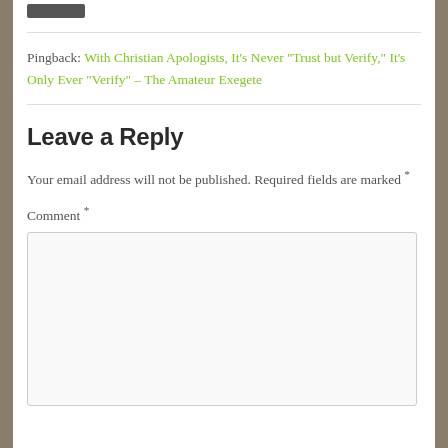[Figure (other): A small dark button/widget stub at the top]
Pingback: With Christian Apologists, It's Never "Trust but Verify," It's Only Ever "Verify" - The Amateur Exegete
Leave a Reply
Your email address will not be published. Required fields are marked *
Comment *
[Figure (other): Empty comment text area input box]